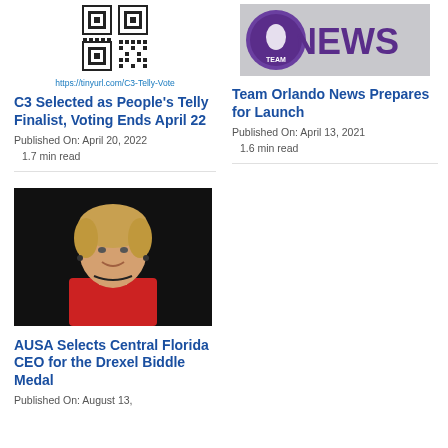[Figure (other): QR code image for C3 Telly Vote]
https://tinyurl.com/C3-Telly-Vote
[Figure (logo): Team Orlando News logo with purple circle icon and NEWS text]
C3 Selected as People's Telly Finalist, Voting Ends April 22
Published On: April 20, 2022
1.7 min read
Team Orlando News Prepares for Launch
Published On: April 13, 2021
1.6 min read
[Figure (photo): Portrait photo of a woman with short blonde hair wearing a red top against a dark background]
AUSA Selects Central Florida CEO for the Drexel Biddle Medal
Published On: August 13,